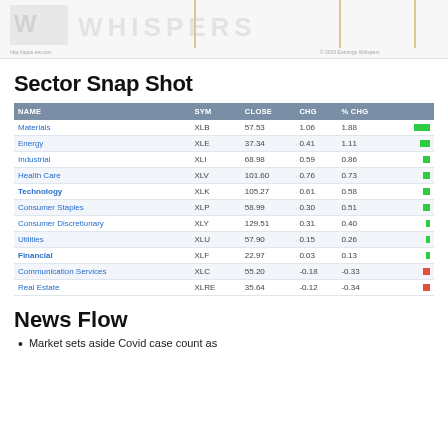[Figure (logo): Earnings Whispers banner with watermark logo and vertical gold lines]
Sector Snap Shot
| NAME | SYM | CLOSE | CHG | % CHG |  |
| --- | --- | --- | --- | --- | --- |
| Materials | XLB | 57.53 | 1.06 | 1.88 |  |
| Energy | XLE | 37.34 | 0.41 | 1.11 |  |
| Industrial | XLI | 68.98 | 0.59 | 0.86 |  |
| Health Care | XLV | 101.60 | 0.76 | 0.73 |  |
| Technology | XLK | 105.27 | 0.61 | 0.58 |  |
| Consumer Staples | XLP | 58.99 | 0.30 | 0.51 |  |
| Consumer Discretionary | XLY | 129.51 | 0.31 | 0.40 |  |
| Utilities | XLU | 57.90 | 0.15 | 0.26 |  |
| Financial | XLF | 22.97 | 0.03 | 0.13 |  |
| Communication Services | XLC | 55.20 | -0.18 | -0.33 |  |
| Real Estate | XLRE | 35.64 | -0.12 | -0.34 |  |
News Flow
Market sets aside Covid case count as